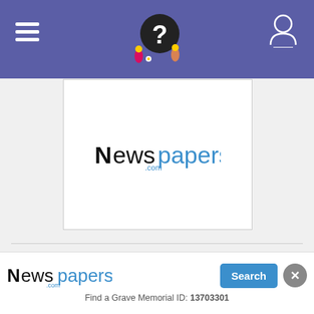Find A Grave — navigation header with hamburger menu, logo, and user icon
[Figure (screenshot): Advertisement placeholder showing Newspapers.com logo in a white box]
Memorials › Region › North America › USA › Washington › Island County › Coupeville › Sunnyside Cemetery › Elizabeth M Hadden Vradenburg
[Figure (screenshot): Bottom advertisement banner showing Newspapers.com logo with a Search button and close (×) button. Text: Find a Grave Memorial ID: 13703301]